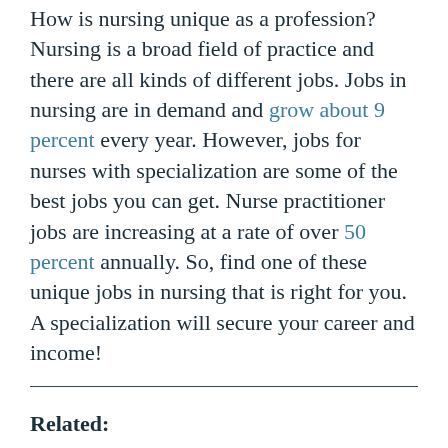How is nursing unique as a profession? Nursing is a broad field of practice and there are all kinds of different jobs. Jobs in nursing are in demand and grow about 9 percent every year. However, jobs for nurses with specialization are some of the best jobs you can get. Nurse practitioner jobs are increasing at a rate of over 50 percent annually. So, find one of these unique jobs in nursing that is right for you. A specialization will secure your career and income!
Related: